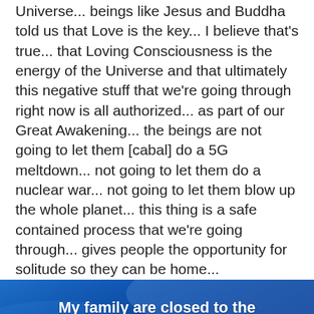Universe... beings like Jesus and Buddha told us that Love is the key... I believe that's true... that Loving Consciousness is the energy of the Universe and that ultimately this negative stuff that we're going through right now is all authorized... as part of our Great Awakening... the beings are not going to let them [cabal] do a 5G meltdown... not going to let them do a nuclear war... not going to let them blow up the whole planet... this thing is a safe contained process that we're going through... gives people the opportunity for solitude so they can be home...
[Figure (illustration): Blue gradient background image with white bold text overlay reading: 'My family are closed to the possibilities. Why are they so closed, and how what can be done to assist them? It causes no end of conflict,']